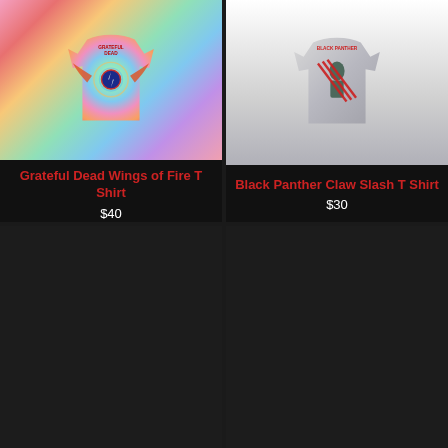[Figure (photo): Grateful Dead Wings of Fire tie-dye t-shirt with colorful swirl pattern in pink, orange, yellow, green, and blue. Features the classic Grateful Dead bolt skull logo with wings of fire.]
Grateful Dead Wings of Fire T Shirt
$40
[Figure (photo): Black Panther Claw Slash gray t-shirt with red lettering and Black Panther character graphic with claw slash marks.]
Black Panther Claw Slash T Shirt
$30
[Figure (photo): Dark/black product image (loading or placeholder)]
[Figure (photo): Dark/black product image (loading or placeholder)]